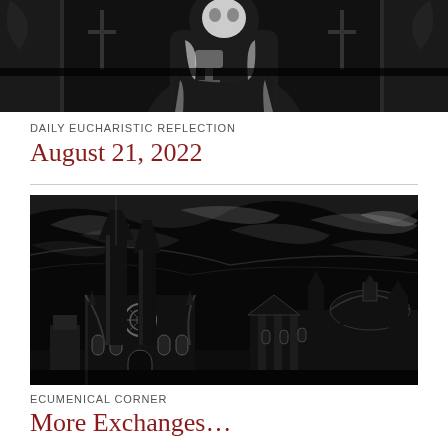[Figure (illustration): Black and white stained glass style illustration showing a religious figure (possibly a saint or bishop) holding a chalice, with detailed decorative elements]
DAILY EUCHARISTIC REFLECTION
August 21, 2022
[Figure (illustration): Black and white woodcut or engraving style illustration showing Gothic cathedral spires and church buildings against a dramatic sky with swirling clouds]
ECUMENICAL CORNER
More Exchanges...